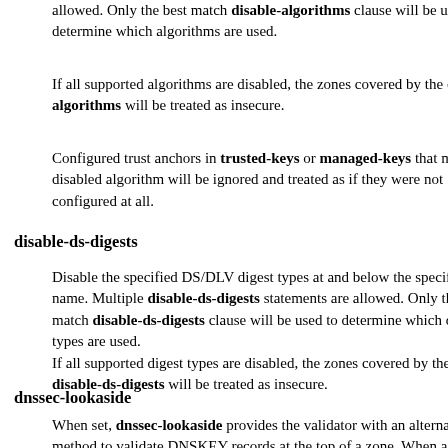allowed. Only the best match disable-algorithms clause will be used to determine which algorithms are used.
If all supported algorithms are disabled, the zones covered by the disable-algorithms will be treated as insecure.
Configured trust anchors in trusted-keys or managed-keys that match a disabled algorithm will be ignored and treated as if they were not configured at all.
disable-ds-digests
Disable the specified DS/DLV digest types at and below the specified name. Multiple disable-ds-digests statements are allowed. Only the best match disable-ds-digests clause will be used to determine which digest types are used.
If all supported digest types are disabled, the zones covered by the disable-ds-digests will be treated as insecure.
dnssec-lookaside
When set, dnssec-lookaside provides the validator with an alternate method to validate DNSKEY records at the top of a zone. When a DNSKEY is at or below a domain specified by the deepest dnssec-lookaside, and the normal DNSSEC